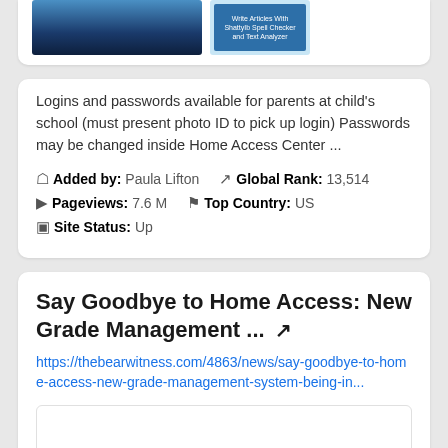[Figure (screenshot): Top of a card showing two thumbnail images: a blue gradient image and a blue tool/app thumbnail with text 'Write Articles With ShattyIb Spell Checker and Text Analyzer']
Logins and passwords available for parents at child's school (must present photo ID to pick up login) Passwords may be changed inside Home Access Center ...
Added by: Paula Lifton   Global Rank: 13,514
Pageviews: 7.6 M   Top Country: US
Site Status: Up
Say Goodbye to Home Access: New Grade Management ...
https://thebearwitness.com/4863/news/say-goodbye-to-home-access-new-grade-management-system-being-in...
[Figure (screenshot): Empty white preview box at the bottom of the second card]